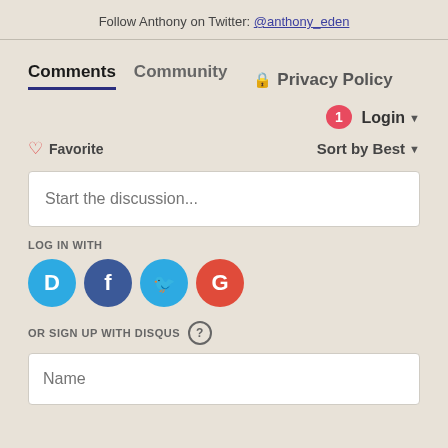Follow Anthony on Twitter: @anthony_eden
Comments  Community  🔒 Privacy Policy
Login ▾
♡ Favorite    Sort by Best ▾
Start the discussion...
LOG IN WITH
[Figure (infographic): Four social login icons: Disqus (blue), Facebook (dark blue), Twitter (blue), Google (red)]
OR SIGN UP WITH DISQUS ?
Name